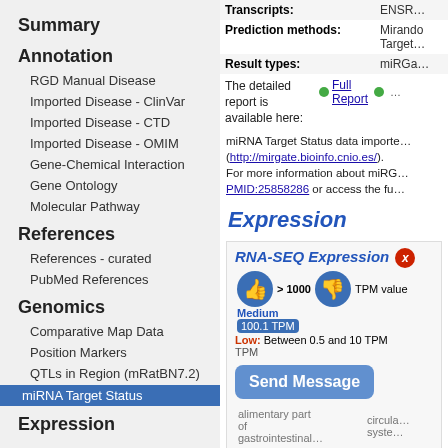Summary
Annotation
RGD Manual Disease
Imported Disease - ClinVar
Imported Disease - CTD
Imported Disease - OMIM
Gene-Chemical Interaction
Gene Ontology
Molecular Pathway
References
References - curated
PubMed References
Genomics
Comparative Map Data
Position Markers
QTLs in Region (mRatBN7.2)
miRNA Target Status
Expression
| Field | Value |
| --- | --- |
| Transcripts: | ENSR... |
| Prediction methods: | Miranda Target... |
| Result types: | miRGa... |
The detailed report is available here:
Full Report
miRNA Target Status data imported (http://mirgate.bioinfo.cnio.es/). For more information about miRG... PMID:25858286 or access the fu...
Expression
[Figure (screenshot): RNA-SEQ Expression panel showing High >1000 TPM value (100.1 TPM), Medium, and Low: Between 0.5 and 10 TPM. Thumbs up and thumbs down icons with a close button. Send Message overlay button. Table showing alimentary part of gastrointestinal and circula... system columns.]